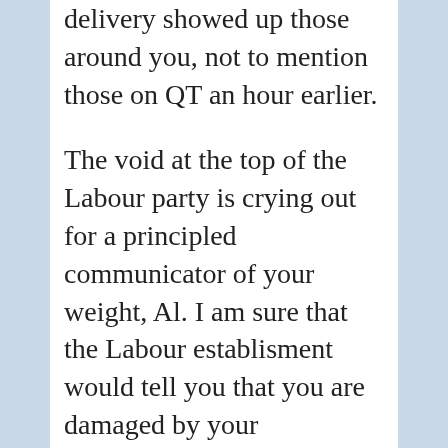delivery showed up those around you, not to mention those on QT an hour earlier.
The void at the top of the Labour party is crying out for a principled communicator of your weight, Al. I am sure that the Labour establisment would tell you that you are damaged by your involvement with TB, Iraq, etc. Do not listen to them.
Get into Parliament